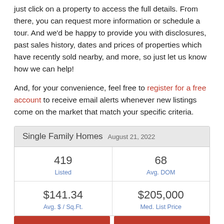just click on a property to access the full details. From there, you can request more information or schedule a tour. And we'd be happy to provide you with disclosures, past sales history, dates and prices of properties which have recently sold nearby, and more, so just let us know how we can help!
And, for your convenience, feel free to register for a free account to receive email alerts whenever new listings come on the market that match your specific criteria.
| Single Family Homes | August 21, 2022 |
| --- | --- |
| 419 Listed | 68 Avg. DOM |
| $141.34 Avg. $ / Sq.Ft. | $205,000 Med. List Price |